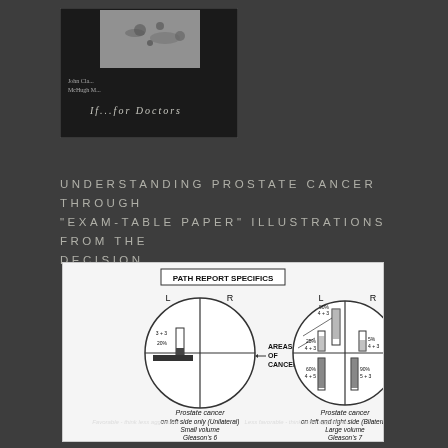[Figure (illustration): Book cover for 'If...for Doctors' by John Cl... McHugh M... with a dark background and small image at top]
UNDERSTANDING PROSTATE CANCER THROUGH "EXAM-TABLE PAPER" ILLUSTRATIONS FROM THE DECISION.
[Figure (engineering-diagram): Medical diagram titled 'PATH REPORT SPECIFICS' showing two circular prostate diagrams. Left diagram: Prostate cancer on left side only (Unilateral), Small volume, Gleason's 6, Favorable - think less aggressive. Right diagram: Prostate cancer on left and right side (Bilateral), Large volume, Gleason's 7, Less favorable - think more aggressive. Areas labeled L and R in each circle with cancer areas marked with percentages (20%, 90%, 25%, 5%, 60%, 90%) and Gleason scores (3+3, 4+3, 4+3, 4+5, 5+3).]